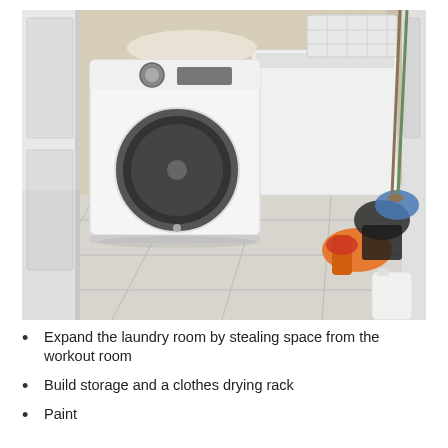[Figure (photo): A messy laundry room viewed through an open white door. There is a front-loading washing machine on the left and a top-loading washer/dryer on the right. A white laundry basket sits on top of the right machine. The floor is tiled in large light-grey tiles. On the right side of the room there is a pile of clutter including an orange item, blue clothing, cleaning supplies, a white jug, and various tools. Brooms and mops lean against the back wall.]
Expand the laundry room by stealing space from the workout room
Build storage and a clothes drying rack
Paint